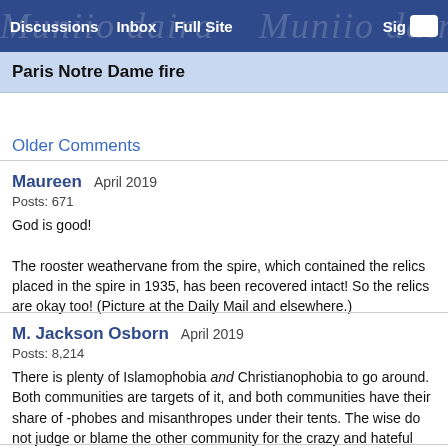Discussions   Inbox   Full Site   Sig
Paris Notre Dame fire
Older Comments
Maureen   April 2019
Posts: 671

God is good!

The rooster weathervane from the spire, which contained the relics placed in the spire in 1935, has been recovered intact! So the relics are okay too! (Picture at the Daily Mail and elsewhere.)
M. Jackson Osborn   April 2019
Posts: 8,214

There is plenty of Islamophobia and Christianophobia to go around. Both communities are targets of it, and both communities have their share of -phobes and misanthropes under their tents. The wise do not judge or blame the other community for the crazy and hateful people who are found everywhere, whose hate needs a target.